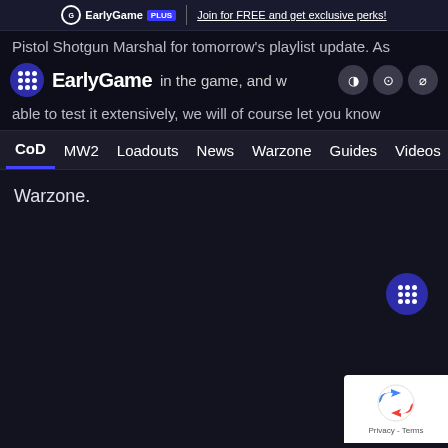EarlyGame PLUS | Join for FREE and get exclusive perks!
Pistol Shotgun Marshal for tomorrow's playlist update. As ... in the game, and we have been able to test it extensively, we will of course let you know
EarlyGame - CoD MW2 Loadouts News Warzone Guides Videos
Warzone.
[Figure (screenshot): reCAPTCHA badge with Privacy and Terms links]